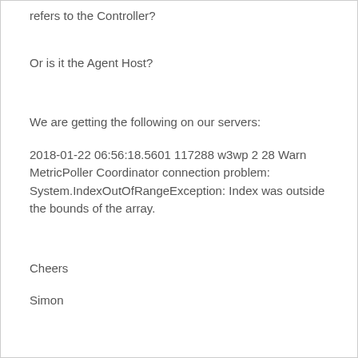refers to the Controller?
Or is it the Agent Host?
We are getting the following on our servers:
2018-01-22 06:56:18.5601 117288 w3wp 2 28 Warn MetricPoller Coordinator connection problem: System.IndexOutOfRangeException: Index was outside the bounds of the array.
Cheers
Simon